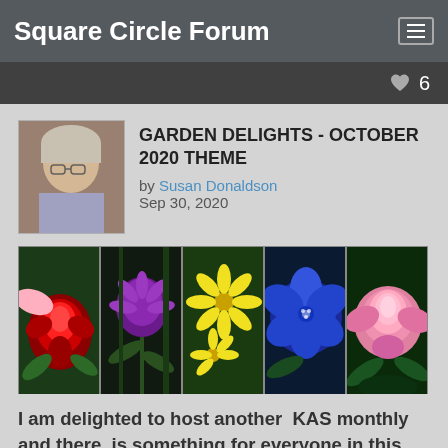Square Circle Forum
GARDEN DELIGHTS - OCTOBER 2020 THEME
by Susan Donaldson
Sep 30, 2020
[Figure (photo): Strip of five flower photographs: red rose, purple thistle/aster, yellow daisy-like flowers, blue geranium, pink rose]
I am delighted to host another  KAS monthly and there  is something for everyone in this month's topic,   Whatever your level of skill,  let your imagination run riot with your choice of yarn, stitch, colour, pattern, texture, motif, and design to create squares, beanie hats, hand warmers and toys,